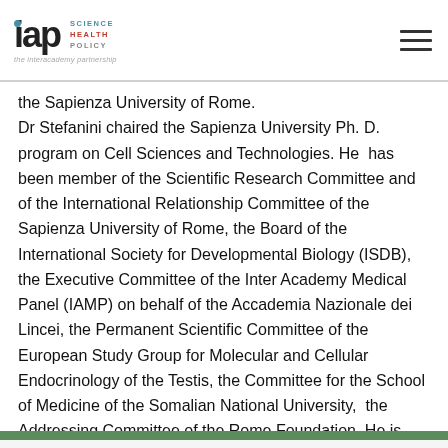IAP Science Health Policy – the Interacademy partnership
the Sapienza University of Rome. Dr Stefanini chaired the Sapienza University Ph. D. program on Cell Sciences and Technologies. He  has been member of the Scientific Research Committee and of the International Relationship Committee of the Sapienza University of Rome, the Board of the International Society for Developmental Biology (ISDB), the Executive Committee of the Inter Academy Medical Panel (IAMP) on behalf of the Accademia Nazionale dei Lincei, the Permanent Scientific Committee of the European Study Group for Molecular and Cellular Endocrinology of the Testis, the Committee for the School of Medicine of the Somalian National University,  the Addressing Committee of the Rome Foundation. He is currently President of the Medical  Academy of Rome, the National Committee for the Promotion of Italian Culture